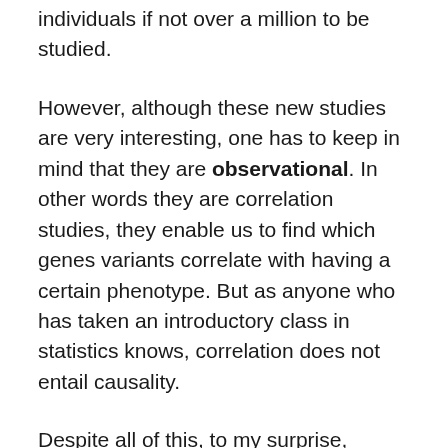individuals if not over a million to be studied.
However, although these new studies are very interesting, one has to keep in mind that they are observational. In other words they are correlation studies, they enable us to find which genes variants correlate with having a certain phenotype. But as anyone who has taken an introductory class in statistics knows, correlation does not entail causality.
Despite all of this, to my surprise, Robert Plomin, an eminent behavioural geneticist, has made the claim that "Predictions from polygenic scores are an exception to the rule that correlations do not imply causation" in his book Blueprint. This is not true. What is probably happening is that Plomin is exaggerating his findings to acquire recognition. In this piece, I will show that GWAS are not causal, give examples of how they can be confounded and then proceed to provide some closing thoughts on this